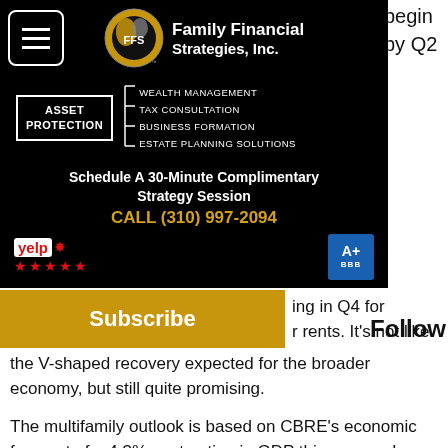[Figure (logo): Family Financial Strategies Inc. advertisement banner with logo, services list (Asset Protection, Wealth Management, Tax Consultation, Business Formation, Estate Planning Solutions), call to action 'Schedule A 30-Minute Complimentary Strategy Session CALL (310) 997-2094', Yelp badge and BBB A+ badge]
begin by Q2
Follow
fundamentals will take a sharp downturn
Subscribe
ing in Q4 for r rents. It’s not like the V-shaped recovery expected for the broader economy, but still quite promising.
The multifamily outlook is based on CBRE’s economic forecast of a 4.3% contraction in GDP this year and a loss of 14 million jobs. If the outlook weakens, the